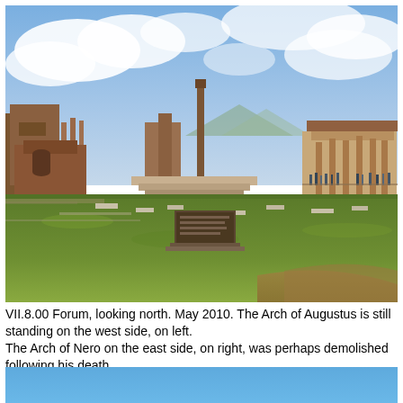[Figure (photo): Photograph of the Pompeii Forum (VII.8.00) looking north, taken May 2010. Shows ancient Roman ruins with brick structures, columns, a tall narrow brick chimney/column in center background, green grass lawn in foreground, scattered stone bases, and tourists visible on right side. Sky has white clouds. The Arch of Augustus is visible on the west side (left), and the area where the Arch of Nero stood on the east side (right) is visible.]
VII.8.00 Forum, looking north. May 2010. The Arch of Augustus is still standing on the west side, on left.
The Arch of Nero on the east side, on right, was perhaps demolished following his death.
[Figure (photo): Partial photograph showing blue sky, cropped at bottom of page.]